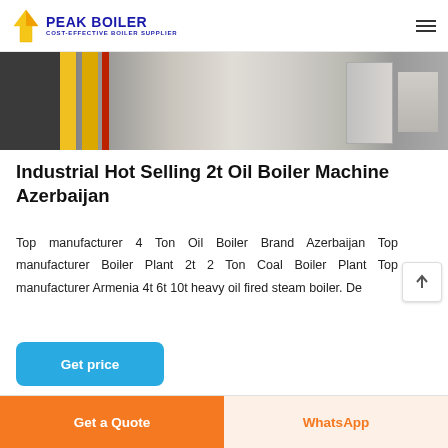PEAK BOILER — COST-EFFECTIVE BOILER SUPPLIER
[Figure (photo): Industrial boiler facility interior showing yellow pipes, red pipe, and metal machinery against a light background]
Industrial Hot Selling 2t Oil Boiler Machine Azerbaijan
Top manufacturer 4 Ton Oil Boiler Brand Azerbaijan Top manufacturer Boiler Plant 2t 2 Ton Coal Boiler Plant Top manufacturer Armenia 4t 6t 10t heavy oil fired steam boiler. De…
Get price
Get a Quote   WhatsApp